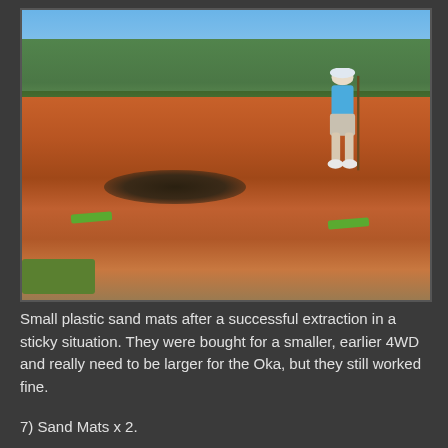[Figure (photo): Outdoor photo showing red sandy terrain with two small green plastic sand mats visible on the ground. A person wearing a blue shirt, white hat, and grey shorts stands in the background holding a stick. Sparse Australian scrubland trees visible in the background under blue sky.]
Small plastic sand mats after a successful extraction in a sticky situation. They were bought for a smaller, earlier 4WD and really need to be larger for the Oka, but they still worked fine.
7) Sand Mats x 2.